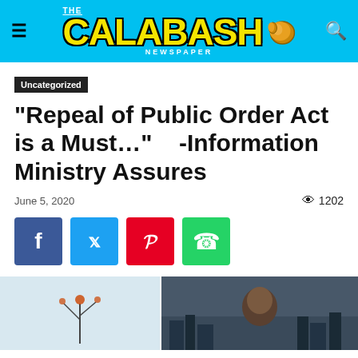The Calabash Newspaper
Uncategorized
“Repeal of Public Order Act is a Must…”    -Information Ministry Assures
June 5, 2020
1202
[Figure (photo): Two-panel photo: left panel shows a close-up of a plant or object on a light background; right panel shows a bald man against a city skyline at dusk.]